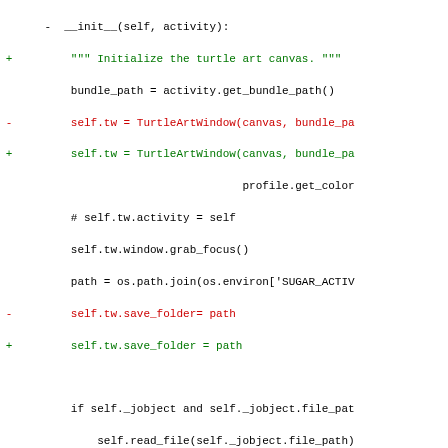[Figure (screenshot): Code diff showing Python source changes with red (removed) and green (added) lines, and black unchanged lines, in monospace font.]